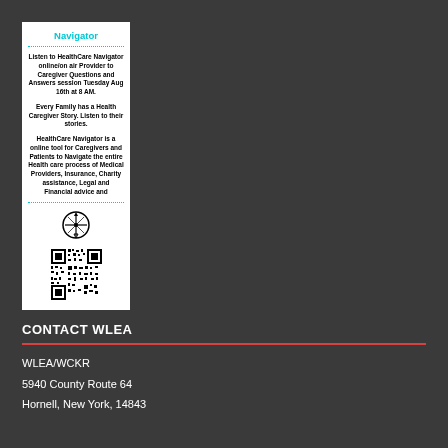[Figure (infographic): Navigator card/flyer with cyan title, dotted borders, body text about HealthCare Navigator, compass logo, and QR code]
CONTACT WLEA
WLEA/WCKR
5940 County Route 64
Hornell, New York, 14843